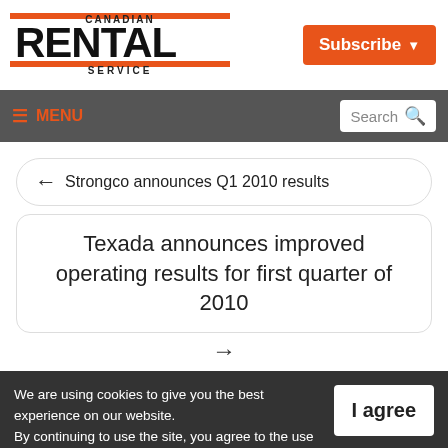Canadian Rental Service
Subscribe
≡ MENU  Search
← Strongco announces Q1 2010 results
Texada announces improved operating results for first quarter of 2010
→
We are using cookies to give you the best experience on our website. By continuing to use the site, you agree to the use of cookies. To find out more, read our privacy policy.